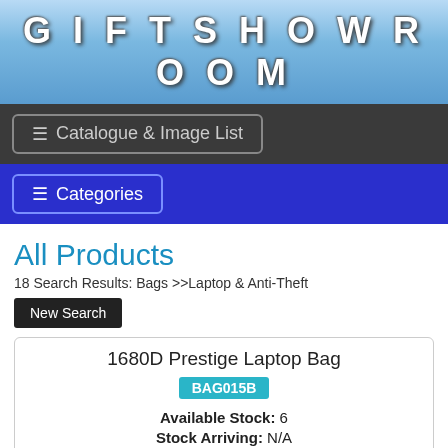GIFTSHOWROOM
[Figure (screenshot): Navigation bar with 'Catalogue & Image List' button on dark background]
[Figure (screenshot): Navigation bar with 'Categories' button on blue background]
All Products
18 Search Results: Bags >>Laptop & Anti-Theft
New Search
1680D Prestige Laptop Bag
BAG015B
Available Stock: 6
Stock Arriving: N/A
View Details